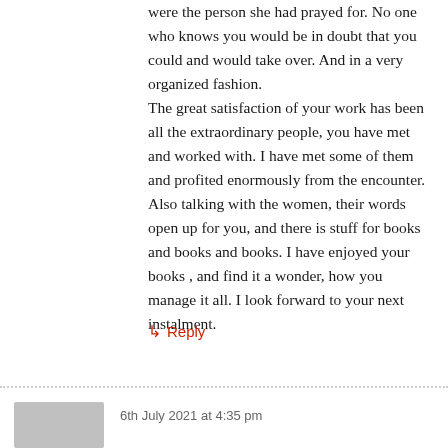were the person she had prayed for. No one who knows you would be in doubt that you could and would take over. And in a very organized fashion.
The great satisfaction of your work has been all the extraordinary people, you have met and worked with. I have met some of them and profited enormously from the encounter. Also talking with the women, their words open up for you, and there is stuff for books and books and books. I have enjoyed your books , and find it a wonder, how you manage it all. I look forward to your next instalment.
↳ Reply
6th July 2021 at 4:35 pm